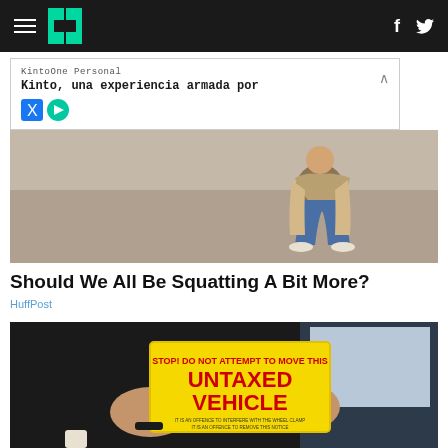HuffPost navigation bar with hamburger menu, logo, Facebook and Twitter icons
[Figure (other): Advertisement banner: KintoOne Personal - Kinto, una experiencia armada por]
[Figure (photo): Person squatting outdoors on gravel/dirt ground, wearing jeans and a light beige/tan coat]
Should We All Be Squatting A Bit More?
HuffPost
[Figure (photo): Person holding a yellow 'STOP! DO NOT ATTEMPT TO MOVE THIS UNTAXED VEHICLE' notice through a car window]